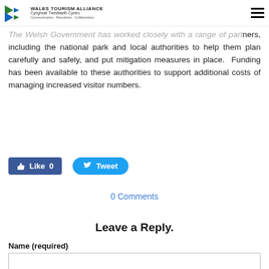Wales Tourism Alliance - Communication · Resolution · Collaboration
thanks, keep your distance and offer face coverings where appropriate.
The Welsh Government has worked closely with a range of partners, including the national park and local authorities to help them plan carefully and safely, and put mitigation measures in place. Funding has been available to these authorities to support additional costs of managing increased visitor numbers.
Like 0  Tweet
0 Comments
Leave a Reply.
Name (required)
Email (not published)